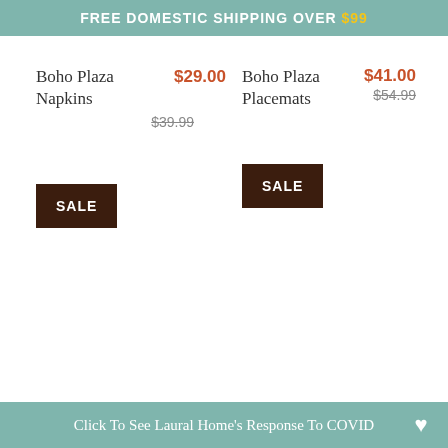FREE DOMESTIC SHIPPING OVER $99
Boho Plaza Napkins $29.00 $39.99
Boho Plaza Placemats $41.00 $54.99
SALE
SALE
Click To See Laural Home's Response To COVID